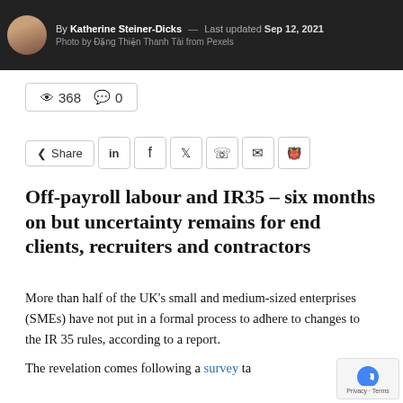By Katherine Steiner-Dicks — Last updated Sep 12, 2021 | Photo by Đặng Thiện Thanh Tài from Pexels
👁 368  💬 0
Share | in | f | 𝕏 | WhatsApp | Email | Reddit
Off-payroll labour and IR35 – six months on but uncertainty remains for end clients, recruiters and contractors
More than half of the UK's small and medium-sized enterprises (SMEs) have not put in a formal process to adhere to changes to the IR35 rules, according to a report.
The revelation comes following a survey ta… launched by PRG, which found 55% of…